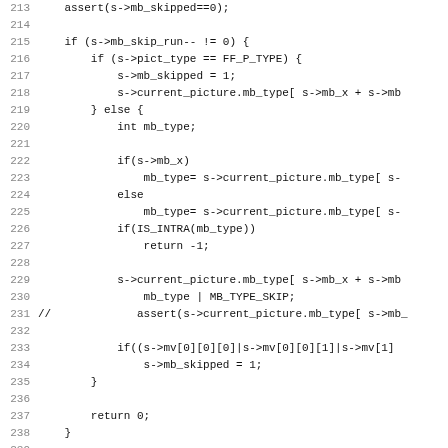[Figure (screenshot): Source code listing in monospace font showing C code lines 213-244, with line numbers on the left and code on the right. The code deals with macroblock skip logic in a video codec.]